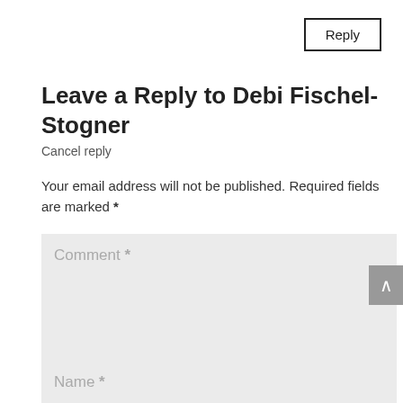Reply
Leave a Reply to Debi Fischel-Stogner
Cancel reply
Your email address will not be published. Required fields are marked *
[Figure (screenshot): Comment text area input field with placeholder text 'Comment *' on a light grey background]
[Figure (screenshot): Name text input field with placeholder text 'Name *' on a light grey background, partially visible at bottom]